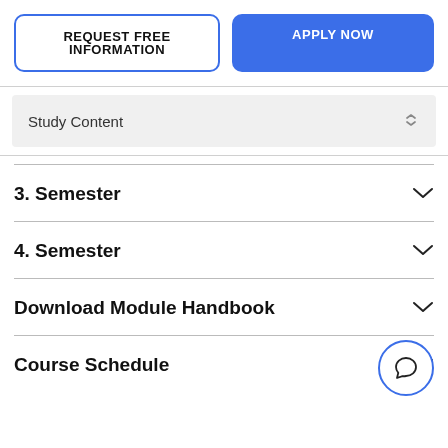REQUEST FREE INFORMATION
APPLY NOW
Study Content
3. Semester
4. Semester
Download Module Handbook
Course Schedule